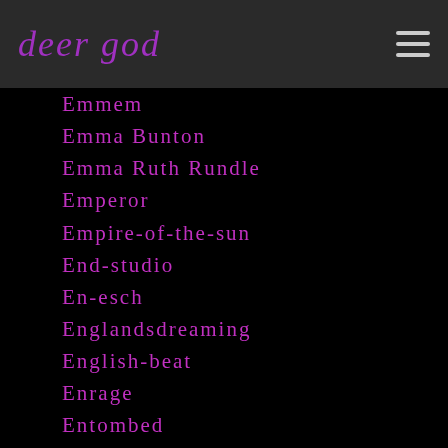deer god
Emmem
Emma Bunton
Emma Ruth Rundle
Emperor
Empire-of-the-sun
End-studio
En-esch
Englandsdreaming
English-beat
Enrage
Entombed
Environmentalism
Epitaph Records
Erasure
Eric-andre
Eric-avery
Ericclapton